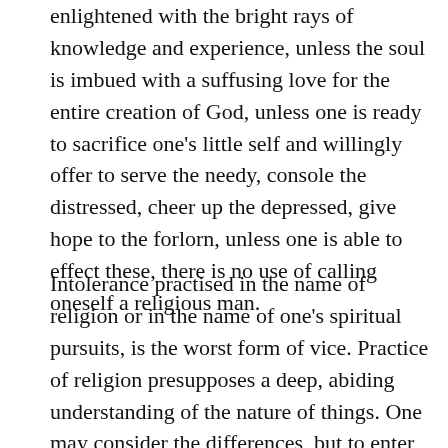enlightened with the bright rays of knowledge and experience, unless the soul is imbued with a suffusing love for the entire creation of God, unless one is ready to sacrifice one's little self and willingly offer to serve the needy, console the distressed, cheer up the depressed, give hope to the forlorn, unless one is able to effect these, there is no use of calling oneself a religious man.
Intolerance practised in the name of religion or in the name of one's spiritual pursuits, is the worst form of vice. Practice of religion presupposes a deep, abiding understanding of the nature of things. One may consider the differences, but to enter into disputes on account of them, and say that this is superior and that is inferior, to indulge in caprices and have a biased attitude, are the marks of a primitive mind.